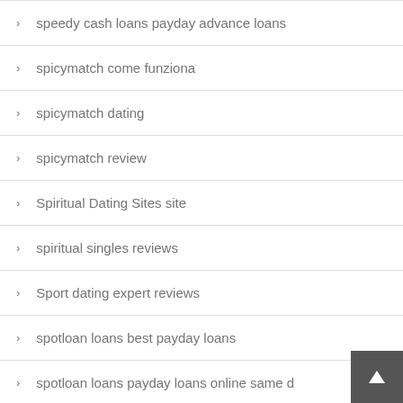speedy cash loans payday advance loans
spicymatch come funziona
spicymatch dating
spicymatch review
Spiritual Dating Sites site
spiritual singles reviews
Sport dating expert reviews
spotloan loans best payday loans
spotloan loans payday loans online same d